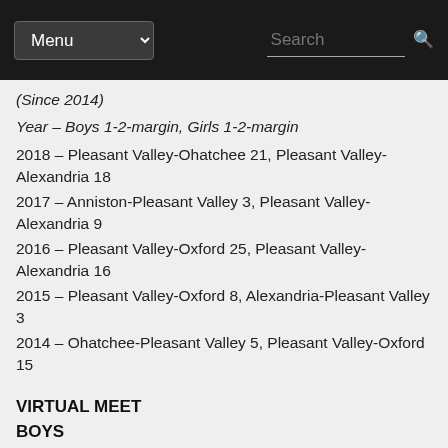Menu  Search
(Since 2014)
Year – Boys 1-2-margin, Girls 1-2-margin
2018 – Pleasant Valley-Ohatchee 21, Pleasant Valley-Alexandria 18
2017 – Anniston-Pleasant Valley 3, Pleasant Valley-Alexandria 9
2016 – Pleasant Valley-Oxford 25, Pleasant Valley-Alexandria 16
2015 – Pleasant Valley-Oxford 8, Alexandria-Pleasant Valley 3
2014 – Ohatchee-Pleasant Valley 5, Pleasant Valley-Oxford 15
VIRTUAL MEET
BOYS
Team scores: White Plains 32, Pleasant Valley 61, Oxford 86, Alexandria 120, Ohatchee 126, Anniston 191, Jacksonville 199, JCA 256,